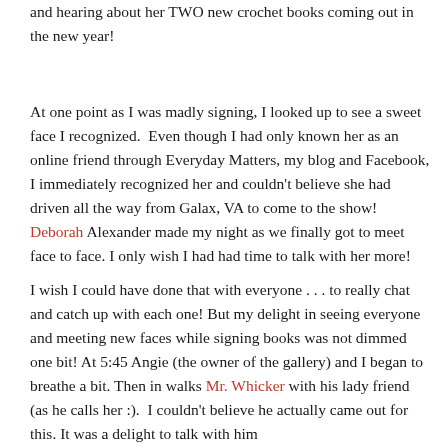and hearing about her TWO new crochet books coming out in the new year!
At one point as I was madly signing, I looked up to see a sweet face I recognized. Even though I had only known her as an online friend through Everyday Matters, my blog and Facebook, I immediately recognized her and couldn't believe she had driven all the way from Galax, VA to come to the show! Deborah Alexander made my night as we finally got to meet face to face. I only wish I had had time to talk with her more!
I wish I could have done that with everyone . . . to really chat and catch up with each one! But my delight in seeing everyone and meeting new faces while signing books was not dimmed one bit! At 5:45 Angie (the owner of the gallery) and I began to breathe a bit. Then in walks Mr. Whicker with his lady friend (as he calls her :). I couldn't believe he actually came out for this. It was a delight to talk with him